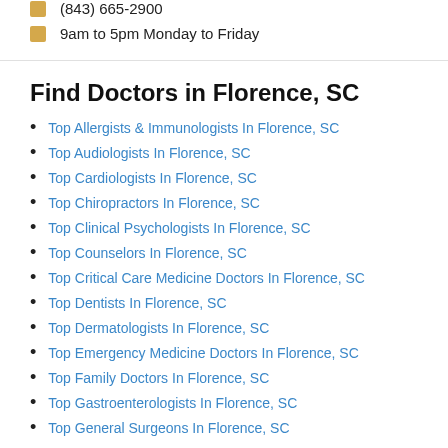(843) 665-2900
9am to 5pm Monday to Friday
Find Doctors in Florence, SC
Top Allergists & Immunologists In Florence, SC
Top Audiologists In Florence, SC
Top Cardiologists In Florence, SC
Top Chiropractors In Florence, SC
Top Clinical Psychologists In Florence, SC
Top Counselors In Florence, SC
Top Critical Care Medicine Doctors In Florence, SC
Top Dentists In Florence, SC
Top Dermatologists In Florence, SC
Top Emergency Medicine Doctors In Florence, SC
Top Family Doctors In Florence, SC
Top Gastroenterologists In Florence, SC
Top General Surgeons In Florence, SC